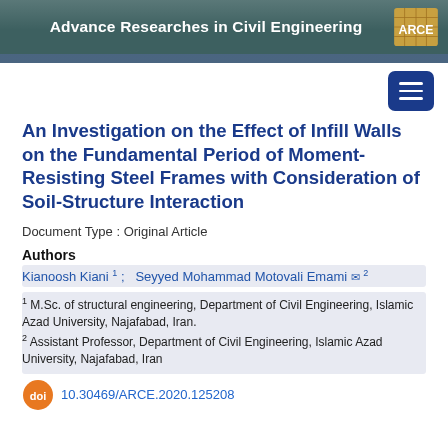Advance Researches in Civil Engineering
An Investigation on the Effect of Infill Walls on the Fundamental Period of Moment-Resisting Steel Frames with Consideration of Soil-Structure Interaction
Document Type : Original Article
Authors
Kianoosh Kiani 1 ;  Seyyed Mohammad Motovali Emami ✉ 2
1 M.Sc. of structural engineering, Department of Civil Engineering, Islamic Azad University, Najafabad, Iran.
2 Assistant Professor, Department of Civil Engineering, Islamic Azad University, Najafabad, Iran
10.30469/ARCE.2020.125208